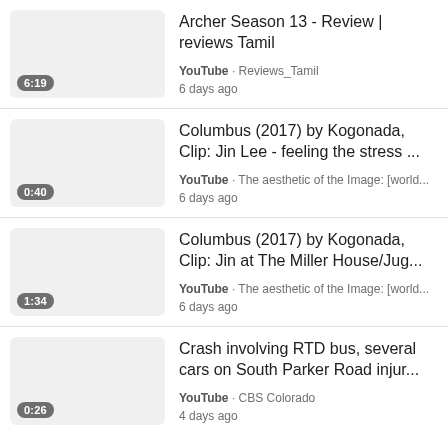Archer Season 13 - Review | reviews Tamil
YouTube · Reviews_Tamil
6 days ago
6:19
Columbus (2017) by Kogonada, Clip: Jin Lee - feeling the stress ...
YouTube · The aesthetic of the Image: [world...
6 days ago
0:40
Columbus (2017) by Kogonada, Clip: Jin at The Miller House/Jug...
YouTube · The aesthetic of the Image: [world...
6 days ago
1:34
Crash involving RTD bus, several cars on South Parker Road injur...
YouTube · CBS Colorado
4 days ago
0:26